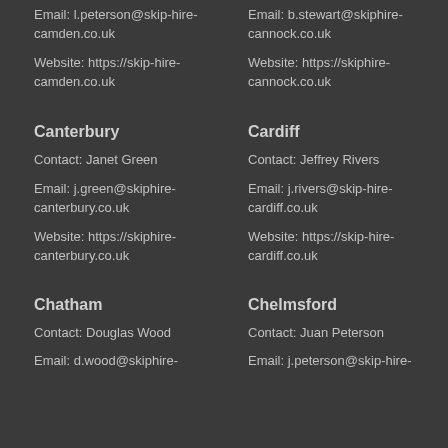Email: l.peterson@skip-hire-camden.co.uk
Email: b.stewart@skiphire-cannock.co.uk
Website: https://skip-hire-camden.co.uk
Website: https://skiphire-cannock.co.uk
Canterbury
Cardiff
Contact: Janet Green
Contact: Jeffrey Rivers
Email: j.green@skiphire-canterbury.co.uk
Email: j.rivers@skip-hire-cardiff.co.uk
Website: https://skiphire-canterbury.co.uk
Website: https://skip-hire-cardiff.co.uk
Chatham
Chelmsford
Contact: Douglas Wood
Contact: Juan Peterson
Email: d.wood@skiphire-
Email: j.peterson@skip-hire-